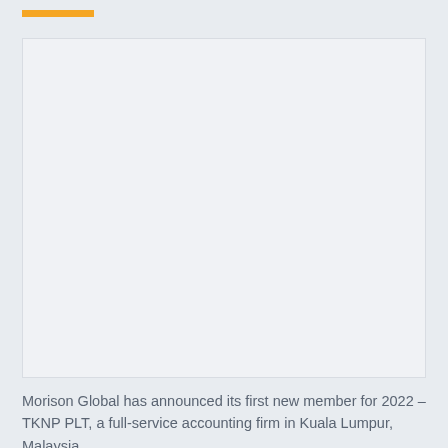[Figure (photo): Blank/placeholder image area with light gray background, likely a photo of TKNP PLT firm or Kuala Lumpur]
Morison Global has announced its first new member for 2022 – TKNP PLT, a full-service accounting firm in Kuala Lumpur, Malaysia.